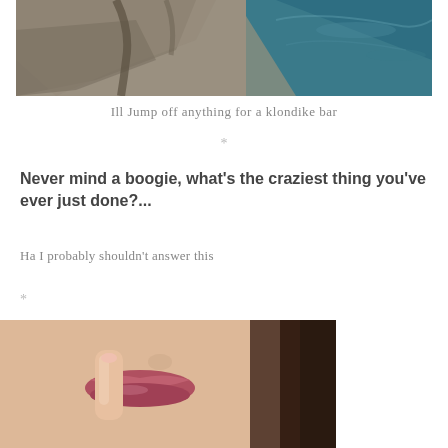[Figure (photo): Aerial view of rocky cliffs and turquoise ocean water below]
Ill Jump off anything for a klondike bar
*
Never mind a boogie, what's the craziest thing you've ever just done?...
Ha I probably shouldn't answer this
*
[Figure (photo): Close-up of a woman's face with finger pressed to her lips in a shushing gesture]